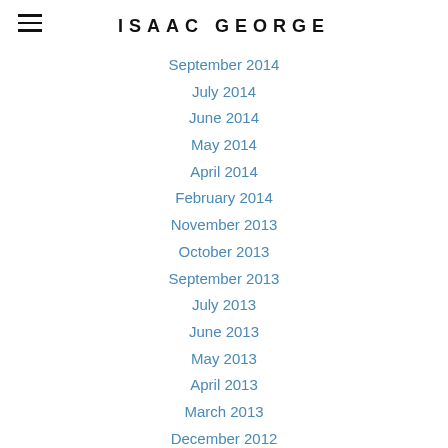ISAAC GEORGE
September 2014
July 2014
June 2014
May 2014
April 2014
February 2014
November 2013
October 2013
September 2013
July 2013
June 2013
May 2013
April 2013
March 2013
December 2012
November 2012
October 2012
August 2012
May 2012